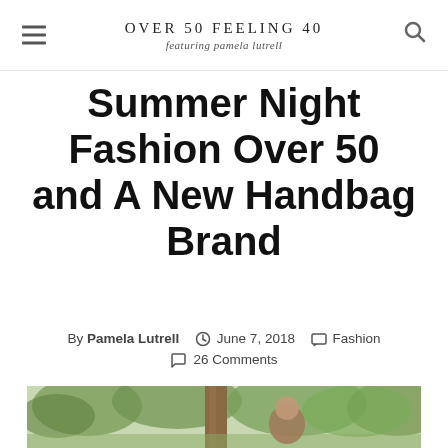OVER 50 FEELING 40 featuring pamela lutrell
Summer Night Fashion Over 50 and A New Handbag Brand
By Pamela Lutrell  June 7, 2018  Fashion  26 Comments
[Figure (photo): Woman standing in front of a tree in an outdoor setting with green trees in background]